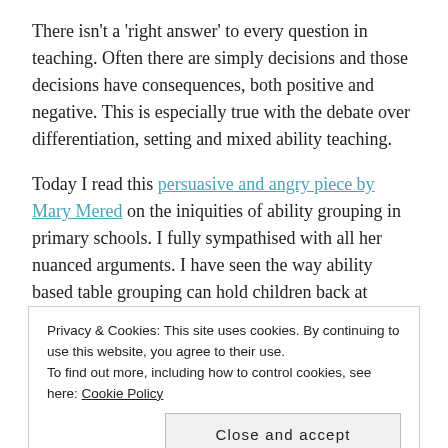There isn't a 'right answer' to every question in teaching. Often there are simply decisions and those decisions have consequences, both positive and negative. This is especially true with the debate over differentiation, setting and mixed ability teaching.
Today I read this persuasive and angry piece by Mary Mered on the iniquities of ability grouping in primary schools. I fully sympathised with all her nuanced arguments. I have seen the way ability based table grouping can hold children back at primary level and I know there is research showing
Privacy & Cookies: This site uses cookies. By continuing to use this website, you agree to their use.
To find out more, including how to control cookies, see here: Cookie Policy
Close and accept
massively mixed ability class knows full well. So while I